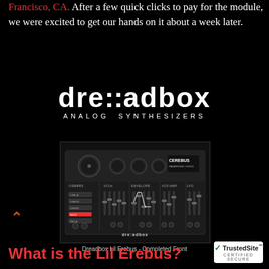Francisco, CA. After a few quick clicks to pay for the module, we were excited to get our hands on it about a week later.
[Figure (logo): Dreadbox Analog Synthesizers logo — stylized 'dre:adbox' wordmark with 'ANALOG SYNTHESIZERS' subtitle]
[Figure (photo): Photo of the Dreadbox Lil Erebus synthesizer module — front panel with knobs, sliders, and 'CEREBUS PARAPHONIC SYNTHESIZER' branding]
Dreadbox Lil Erebus - Completed Front
What is the Lil Erebus?